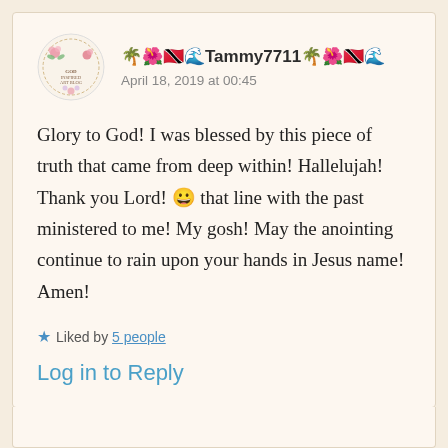🌴🌺🇹🇹🌊Tammy7711🌴🌺🇹🇹🌊
April 18, 2019 at 00:45
Glory to God! I was blessed by this piece of truth that came from deep within! Hallelujah! Thank you Lord! 😀 that line with the past ministered to me! My gosh! May the anointing continue to rain upon your hands in Jesus name! Amen!
★ Liked by 5 people
Log in to Reply